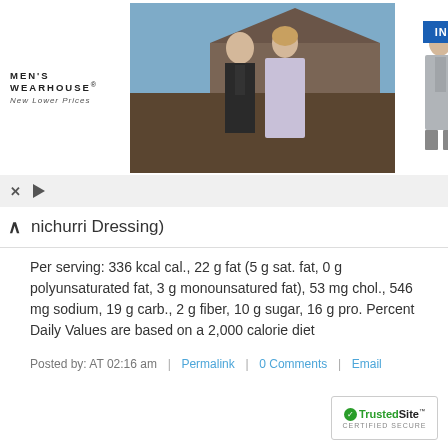[Figure (screenshot): Men's Wearhouse advertisement banner showing a couple in formal wear and a man in a gray suit, with an INFO button]
nichurri Dressing)
Per serving: 336 kcal cal., 22 g fat (5 g sat. fat, 0 g polyunsaturated fat, 3 g monounsatured fat), 53 mg chol., 546 mg sodium, 19 g carb., 2 g fiber, 10 g sugar, 16 g pro. Percent Daily Values are based on a 2,000 calorie diet
Posted by: AT 02:16 am  |  Permalink  |  0 Comments  |  Email
[Figure (logo): TrustedSite Certified Secure badge]